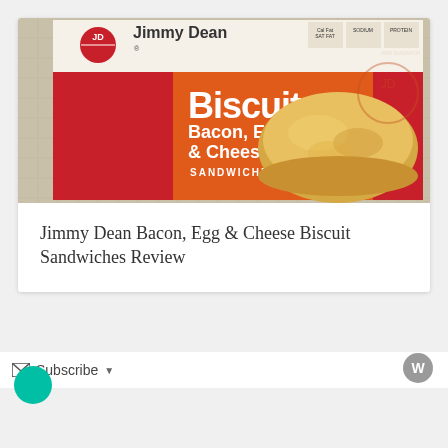[Figure (photo): Jimmy Dean Biscuit Bacon, Egg & Cheese Sandwiches product package photo. Red and orange packaging showing the JD Jimmy Dean logo at top, large text 'Biscuit', 'Bacon, Egg & Cheese', 'SANDWICHES', with a photo of a biscuit sandwich on the right side.]
Jimmy Dean Bacon, Egg & Cheese Biscuit Sandwiches Review